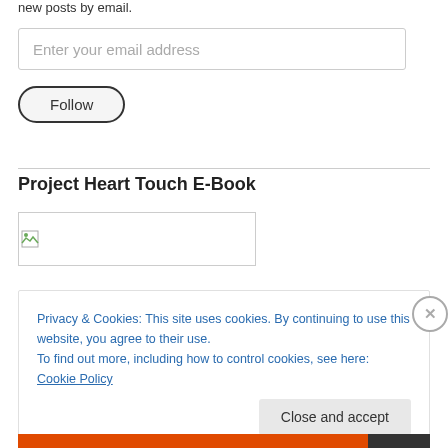new posts by email.
Enter your email address
Follow
Project Heart Touch E-Book
[Figure (other): Broken image placeholder for E-Book cover]
Privacy & Cookies: This site uses cookies. By continuing to use this website, you agree to their use.
To find out more, including how to control cookies, see here: Cookie Policy
Close and accept